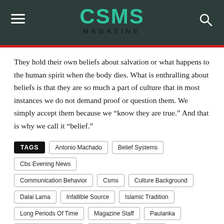CSMS MAGAZINE
They hold their own beliefs about salvation or what happens to the human spirit when the body dies. What is enthralling about beliefs is that they are so much a part of culture that in most instances we do not demand proof or question them. We simply accept them because we “know they are true.” And that is why we call it “belief.”
TAGS: Antonio Machado, Belief Systems, Cbs Evening News, Communication Behavior, Csms, Culture Background, Dalai Lama, Infallible Source, Islamic Tradition, Long Periods Of Time, Magazine Staff, Paulanka, Predominant Religion, Proper Path, Purnell, Religious Sects, Spanish Poet, Taoist I Ching, Truth And Knowledge, Venomous Bites